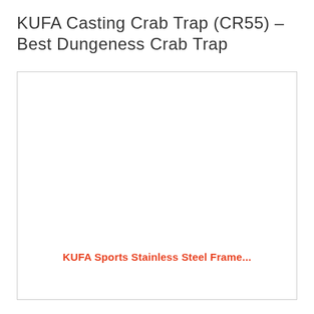KUFA Casting Crab Trap (CR55) – Best Dungeness Crab Trap
[Figure (photo): White/blank image area with a red caption text at the bottom reading 'KUFA Sports Stainless Steel Frame...' inside a bordered box]
KUFA Sports Stainless Steel Frame...